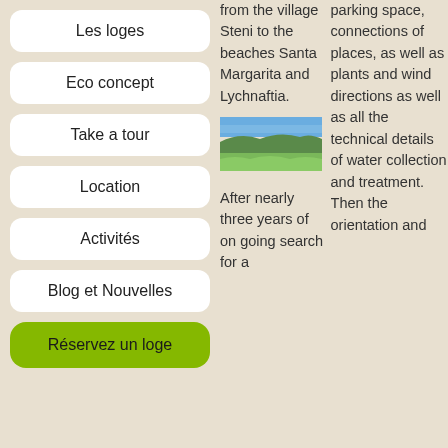Les loges
Eco concept
Take a tour
Location
Activités
Blog et Nouvelles
Réservez un loge
from the village Steni to the beaches Santa Margarita and Lychnaftia.
[Figure (photo): Landscape photo showing green hills under a blue sky]
After nearly three years of on going search for a
parking space, connections of places, as well as plants and wind directions as well as all the technical details of water collection and treatment. Then the orientation and